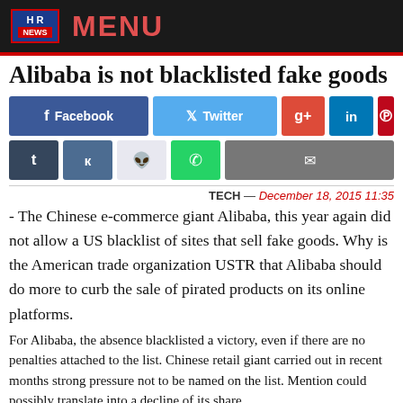HR NEWS | MENU
Alibaba is not blacklisted fake goods
[Figure (other): Social media sharing buttons: Facebook, Twitter, Google+, LinkedIn, Pinterest, Tumblr, VK, Reddit, WhatsApp, Email]
TECH — December 18, 2015 11:35
- The Chinese e-commerce giant Alibaba, this year again did not allow a US blacklist of sites that sell fake goods. Why is the American trade organization USTR that Alibaba should do more to curb the sale of pirated products on its online platforms.
For Alibaba, the absence blacklisted a victory, even if there are no penalties attached to the list. Chinese retail giant carried out in recent months strong pressure not to be named on the list. Mention could possibly translate into a decline of its share